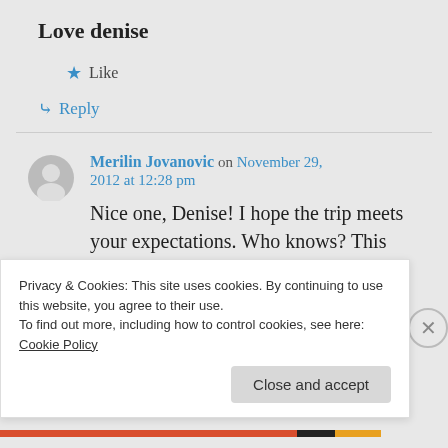Love denise
★ Like
↪ Reply
Merilin Jovanovic on November 29, 2012 at 12:28 pm
Nice one, Denise! I hope the trip meets your expectations. Who knows? This could be the start of a
Privacy & Cookies: This site uses cookies. By continuing to use this website, you agree to their use. To find out more, including how to control cookies, see here: Cookie Policy
Close and accept